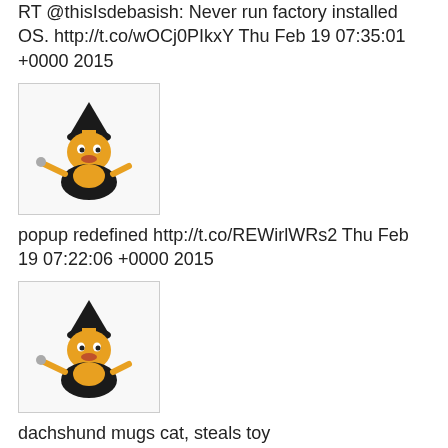RT @thisIsdebasish: Never run factory installed OS. http://t.co/wOCj0PIkxY Thu Feb 19 07:35:01 +0000 2015
[Figure (illustration): Small avatar image of a cartoon cat character wearing a witch hat and cape, holding a wand]
popup redefined http://t.co/REWirlWRs2 Thu Feb 19 07:22:06 +0000 2015
[Figure (illustration): Small avatar image of a cartoon cat character wearing a witch hat and cape, holding a wand]
dachshund mugs cat, steals toy http://t.co/bDzfiLslQm Thu Feb 19 07:21:32 +0000 2015
[Figure (illustration): Small avatar image of a cartoon cat character wearing a witch hat and cape, holding a wand]
cat administers chokehold to dog http://t.co/4Y37WQYVmO Thu Feb 19 07:20:29 +0000 2015
[Figure (illustration): Partial avatar image visible at bottom, same cartoon cat character]